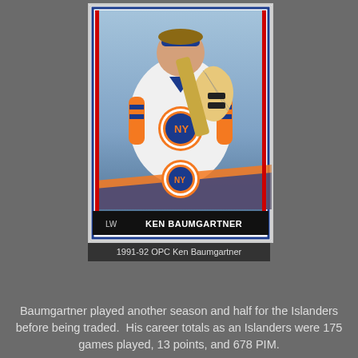[Figure (photo): 1991-92 OPC hockey card featuring Ken Baumgartner of the New York Islanders. The card shows Baumgartner in his white Islanders jersey holding an electric guitar, with the NY Islanders logo prominently displayed. Bottom of card reads 'LW  KEN BAUMGARTNER'.]
1991-92 OPC Ken Baumgartner
Baumgartner played another season and half for the Islanders before being traded.  His career totals as an Islanders were 175 games played, 13 points, and 678 PIM.